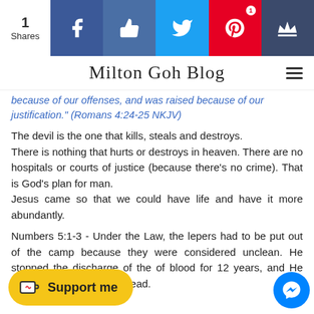[Figure (infographic): Social share bar with count '1 Shares', Facebook, Like, Twitter, Pinterest (1 badge), and Crown buttons]
Milton Goh Blog
because of our offenses, and was raised because of our justification." (Romans 4:24-25 NKJV)
The devil is the one that kills, steals and destroys. There is nothing that hurts or destroys in heaven. There are no hospitals or courts of justice (because there's no crime). That is God's plan for man. Jesus came so that we could have life and have it more abundantly.
Numbers 5:1-3 - Under the Law, the lepers had to be put out of the camp because they were considered unclean. He stopped the discharge of the of blood for 12 years, and He raised Lazarus from the dead.
[Figure (infographic): Support me button (yellow pill button with coffee cup icon) and Facebook Messenger bubble button]